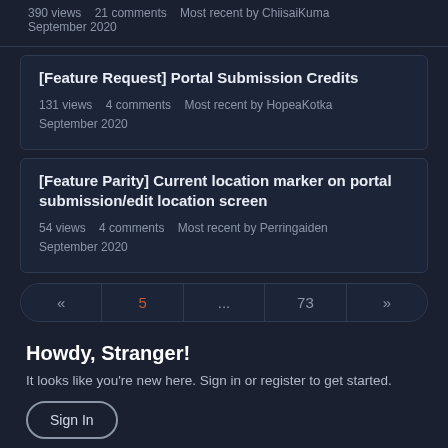390 views   21 comments   Most recent by ChiisaiKuma   September 2020
[Feature Request] Portal Submission Credits
131 views   4 comments   Most recent by HopeaKotka   September 2020
[Feature Parity] Current location marker on portal submission/edit location screen
54 views   4 comments   Most recent by Perringaiden   September 2020
«
5
...
73
»
Howdy, Stranger!
It looks like you're new here. Sign in or register to get started.
Sign In